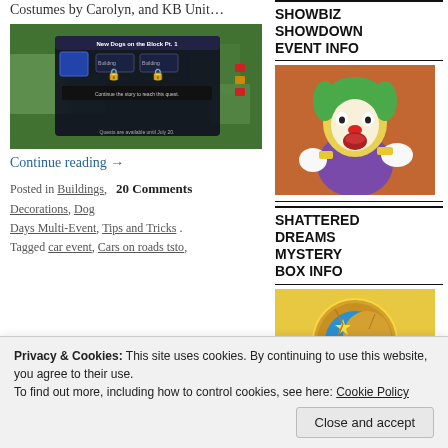Costumes by Carolyn, and KB Unit…
[Figure (screenshot): Screenshot of a Simpsons Tapped Out game interface showing a quest dialog 'New Dogs on the Block Pt. 1' with building icons and lock icons, overlaid on an isometric city view with green trees and buildings.]
Continue reading →
Posted in Buildings, Decorations, Dog Days Multi-Event, Tips and Tricks .Tagged car event, Cars on roads tsto,
20 Comments
SHOWBIZ SHOWDOWN EVENT INFO
[Figure (illustration): Illustration of Krusty the Clown from The Simpsons, appearing shocked or screaming, wearing his purple suit and holding up his yellow-gloved hands, against an orange/brown background.]
SHATTERED DREAMS MYSTERY BOX INFO
[Figure (illustration): Illustration of a golden mystery box with a blue moon and stars design on it against a gold/orange background.]
Privacy & Cookies: This site uses cookies. By continuing to use this website, you agree to their use.
To find out more, including how to control cookies, see here: Cookie Policy
Close and accept